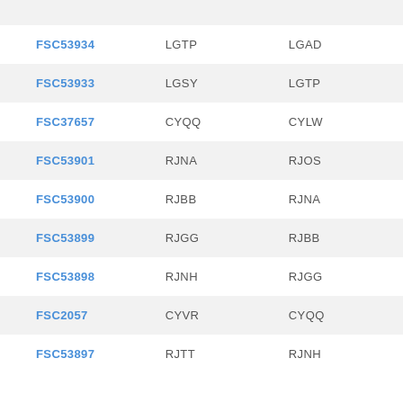| FSC53934 | LGTP | LGAD |
| FSC53933 | LGSY | LGTP |
| FSC37657 | CYQQ | CYLW |
| FSC53901 | RJNA | RJOS |
| FSC53900 | RJBB | RJNA |
| FSC53899 | RJGG | RJBB |
| FSC53898 | RJNH | RJGG |
| FSC2057 | CYVR | CYQQ |
| FSC53897 | RJTT | RJNH |